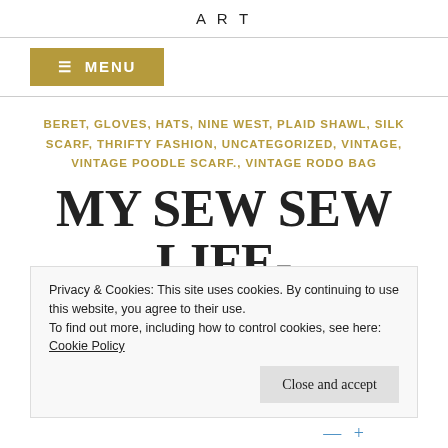ART
≡ MENU
BERET, GLOVES, HATS, NINE WEST, PLAID SHAWL, SILK SCARF, THRIFTY FASHION, UNCATEGORIZED, VINTAGE, VINTAGE POODLE SCARF., VINTAGE RODO BAG
MY SEW SEW LIFE- PLAID, SUEDE AND
Privacy & Cookies: This site uses cookies. By continuing to use this website, you agree to their use.
To find out more, including how to control cookies, see here: Cookie Policy
Close and accept